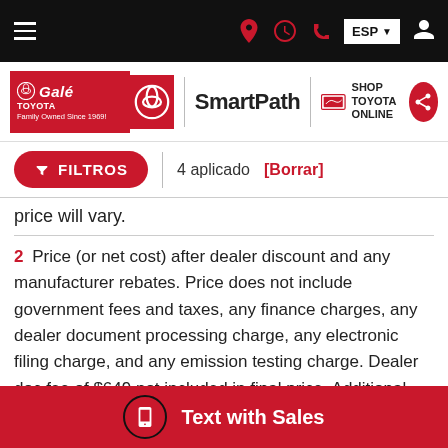Navigation bar with hamburger menu, location, clock, phone icons, ESP language button, and user icon
[Figure (logo): Gale Toyota logo with SmartPath branding and Shop Toyota Online link]
FILTROS | 4 aplicado [Borrar]
price will vary.
2 Price (or net cost) after dealer discount and any manufacturer rebates. Price does not include government fees and taxes, any finance charges, any dealer document processing charge, any electronic filing charge, and any emission testing charge. Dealer doc fee of $649 not included in final price. Additional taxes, registration and license fees may apply for out of state purchasers based on their registration address.
Text with Sales